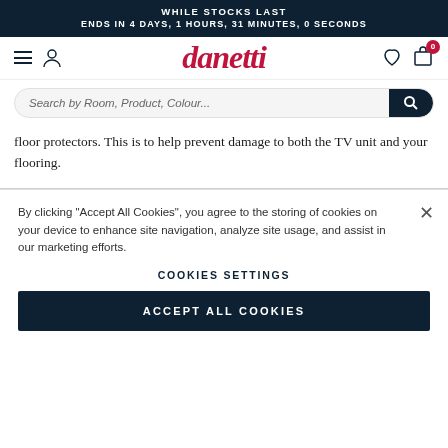WHILE STOCKS LAST
ENDS IN 4 DAYS, 1 HOURS, 31 MINUTES, 0 SECONDS
[Figure (logo): danetti logo in red italic serif font, with hamburger menu, user icon, heart icon, and cart icon with badge 0]
[Figure (screenshot): Search bar with placeholder text 'Search by Room, Product, Colour...' and dark search button]
floor protectors. This is to help prevent damage to both the TV unit and your flooring.
By clicking "Accept All Cookies", you agree to the storing of cookies on your device to enhance site navigation, analyze site usage, and assist in our marketing efforts.
COOKIES SETTINGS
ACCEPT ALL COOKIES